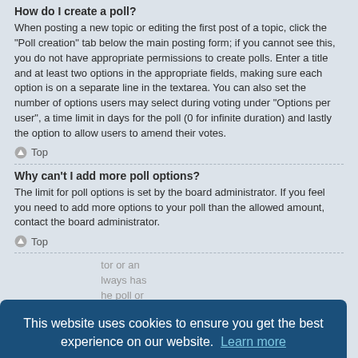How do I create a poll?
When posting a new topic or editing the first post of a topic, click the “Poll creation” tab below the main posting form; if you cannot see this, you do not have appropriate permissions to create polls. Enter a title and at least two options in the appropriate fields, making sure each option is on a separate line in the textarea. You can also set the number of options users may select during voting under “Options per user”, a time limit in days for the poll (0 for infinite duration) and lastly the option to allow users to amend their votes.
Top
Why can’t I add more poll options?
The limit for poll options is set by the board administrator. If you feel you need to add more options to your poll than the allowed amount, contact the board administrator.
Top
[Figure (other): Cookie consent banner overlay with text: 'This website uses cookies to ensure you get the best experience on our website. Learn more' and a 'Got it!' button. Below the banner, partially visible text about a board administrator or an 'always has' reference, with another Top link at the bottom.]